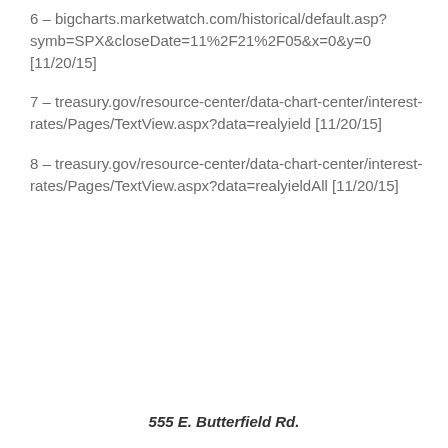6 – bigcharts.marketwatch.com/historical/default.asp?symb=SPX&closeDate=11%2F21%2F05&x=0&y=0 [11/20/15]
7 – treasury.gov/resource-center/data-chart-center/interest-rates/Pages/TextView.aspx?data=realyield [11/20/15]
8 – treasury.gov/resource-center/data-chart-center/interest-rates/Pages/TextView.aspx?data=realyieldAll [11/20/15]
555 E. Butterfield Rd.